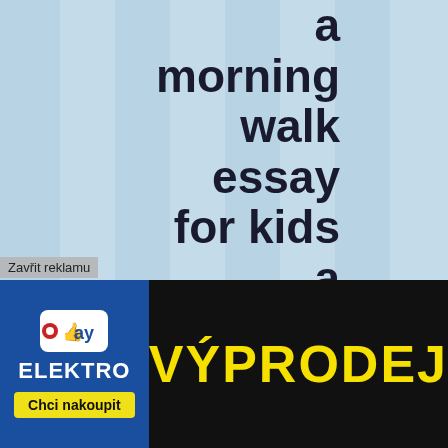a morning walk essay for kids a mother essay being a hero
Zavřit reklamu
[Figure (illustration): Okay Elektro advertisement banner with logo, VÝPRODEJ text and Chci nakoupit button]